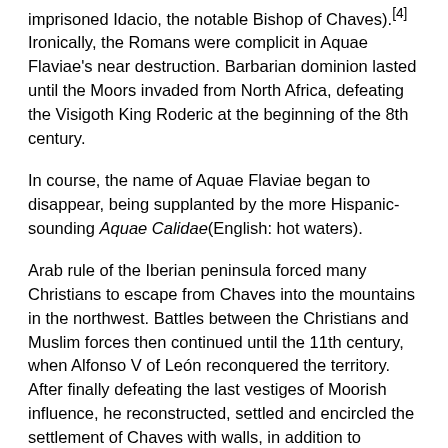imprisoned Idacio, the notable Bishop of Chaves).[4] Ironically, the Romans were complicit in Aquae Flaviae's near destruction. Barbarian dominion lasted until the Moors invaded from North Africa, defeating the Visigoth King Roderic at the beginning of the 8th century.
In course, the name of Aquae Flaviae began to disappear, being supplanted by the more Hispanic-sounding Aquae Calidae(English: hot waters).
Arab rule of the Iberian peninsula forced many Christians to escape from Chaves into the mountains in the northwest. Battles between the Christians and Muslim forces then continued until the 11th century, when Alfonso V of León reconquered the territory. After finally defeating the last vestiges of Moorish influence, he reconstructed, settled and encircled the settlement of Chaves with walls, in addition to establishing a Jewish quarter in the community. It was in the reign of Afonso I of